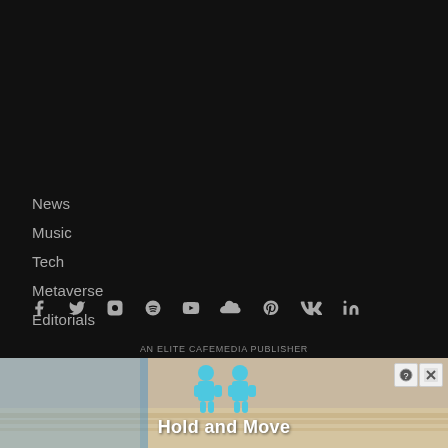News
Music
Tech
Metaverse
Editorials
The Magazine
Advertise & Promote on We Rave You
[Figure (infographic): Social media icons row: Facebook, Twitter, Instagram, Spotify, YouTube, SoundCloud, Pinterest, VK, LinkedIn]
AN ELITE CAFEMEDIA PUBLISHER
[Figure (screenshot): Advertisement banner: Hold and Move game ad with two cartoon figures and sandy background]